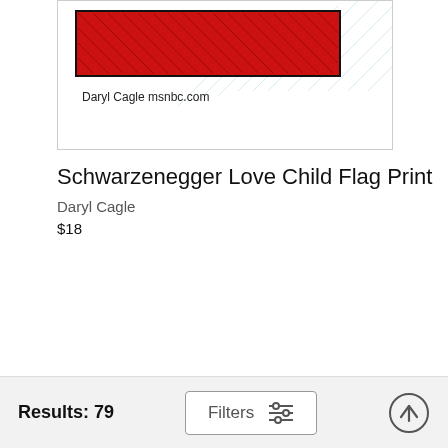[Figure (illustration): Partial view of a Daryl Cagle cartoon showing a red rectangle with cross-hatching, signed 'Daryl Cagle msnbc.com' — the Schwarzenegger Love Child Flag Print artwork]
Schwarzenegger Love Child Flag Print
Daryl Cagle
$18
Results: 79   Filters   ↑